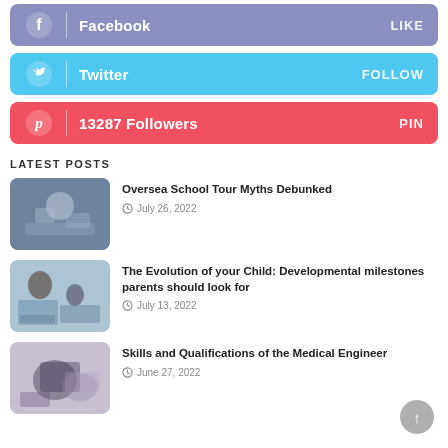[Figure (infographic): Facebook social media button with LIKE action]
[Figure (infographic): Twitter social media button with FOLLOW action]
[Figure (infographic): Pinterest social media button showing 13287 Followers with PIN action]
LATEST POSTS
[Figure (photo): Blurry photo of people in a public setting]
Oversea School Tour Myths Debunked
July 26, 2022
[Figure (photo): Teacher with students at a classroom table with laptops]
The Evolution of your Child: Developmental milestones parents should look for
July 13, 2022
[Figure (photo): Person in lab coat and gloves looking through microscope]
Skills and Qualifications of the Medical Engineer
June 27, 2022